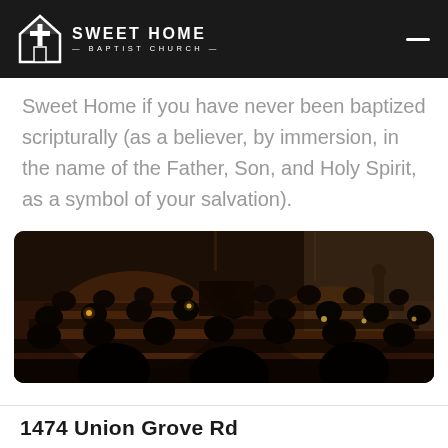SWEET HOME BAPTIST CHURCH
Sweet Home if you have never been baptized scripturally (as a believer, by immersion, in the name of the Father, Son, and Holy Spirit, as a symbol of your salvation).
[Figure (photo): Dark interior of a church sanctuary with congregants seated in pews, some holding candles, with a speaker or pastor visible at the front.]
1474 Union Grove Rd